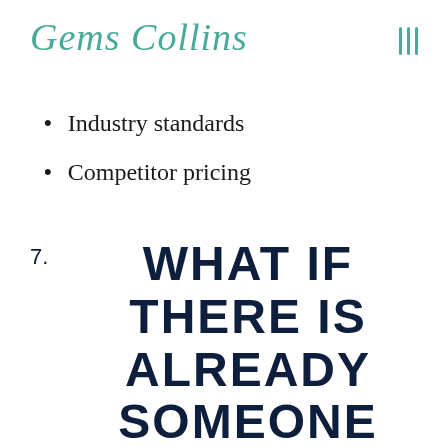Gems Collins
Industry standards
Competitor pricing
7. WHAT IF THERE IS ALREADY SOMEONE OFFERING WHAT I DO?